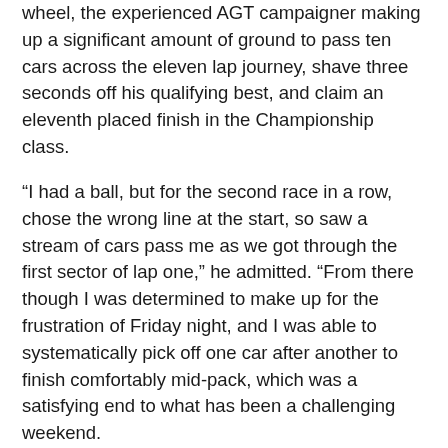wheel, the experienced AGT campaigner making up a significant amount of ground to pass ten cars across the eleven lap journey, shave three seconds off his qualifying best, and claim an eleventh placed finish in the Championship class.
“I had a ball, but for the second race in a row, chose the wrong line at the start, so saw a stream of cars pass me as we got through the first sector of lap one,” he admitted. “From there though I was determined to make up for the frustration of Friday night, and I was able to systematically pick off one car after another to finish comfortably mid-pack, which was a satisfying end to what has been a challenging weekend.
“All up we’re very happy with the performance of the car. Dean ran brilliantly, and I’m glad he opted for safety in the